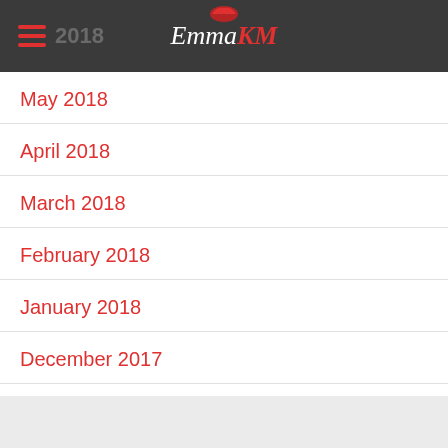Emma KM
May 2018
April 2018
March 2018
February 2018
January 2018
December 2017
November 2017